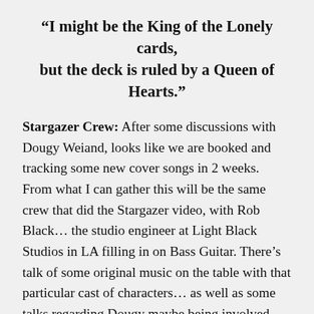“I might be the King of the Lonely cards, but the deck is ruled by a Queen of Hearts.”
Stargazer Crew: After some discussions with Dougy Weiand, looks like we are booked and tracking some new cover songs in 2 weeks. From what I can gather this will be the same crew that did the Stargazer video, with Rob Black… the studio engineer at Light Black Studios in LA filling in on Bass Guitar. There’s talk of some original music on the table with that particular cast of characters… as well as some talks regarding Dougy maybe being involved with the first official Diamonds